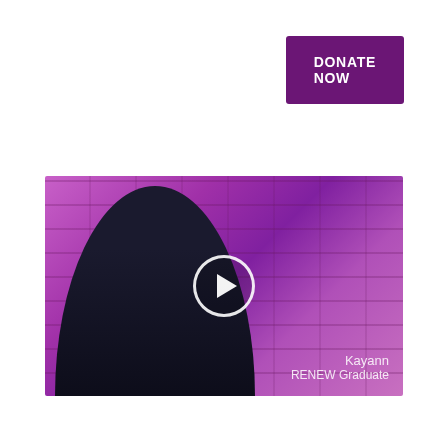DONATE NOW
[Figure (photo): Video thumbnail showing Kayann, a RENEW Graduate, seated in front of a purple brick wall background, with a play button overlay. Lower right shows text: Kayann / RENEW Graduate]
Our Educational Workshops